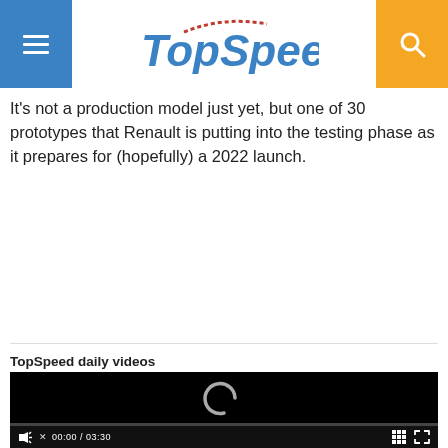TopSpeed
It's not a production model just yet, but one of 30 prototypes that Renault is putting into the testing phase as it prepares for (hopefully) a 2022 launch.
TopSpeed daily videos
[Figure (screenshot): Video player showing a loading spinner, time display 00:00 / 03:30, mute button, grid button, and fullscreen button on a black background.]